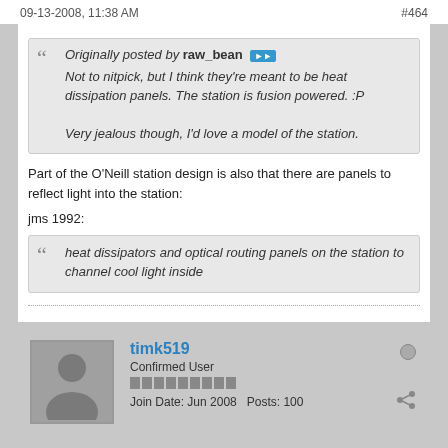09-13-2008, 11:38 AM   #464
Originally posted by raw_bean
Not to nitpick, but I think they’re meant to be heat dissipation panels. The station is fusion powered. :P

Very jealous though, I’d love a model of the station.
Part of the O’Neill station design is also that there are panels to reflect light into the station:
jms 1992:
heat dissipators and optical routing panels on the station to channel cool light inside
timk519
Confirmed User
Join Date: Jun 2008   Posts: 100